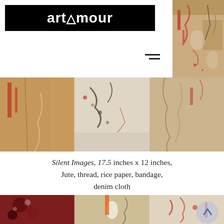artamour
[Figure (photo): Vertical strip of abstract textile artwork with warm tones, reds and browns, appearing at top right of page]
[Figure (photo): Horizontal strip of three abstract mixed-media artworks featuring reds, whites, and earthy tones — textile/collage works forming 'Silent Images']
Silent Images, 17.5 inches x 12 inches, Jute, thread, rice paper, bandage, denim cloth
[Figure (photo): Horizontal strip of three abstract mixed-media artworks in dark reds, blacks, and beige tones with textile and paper elements]